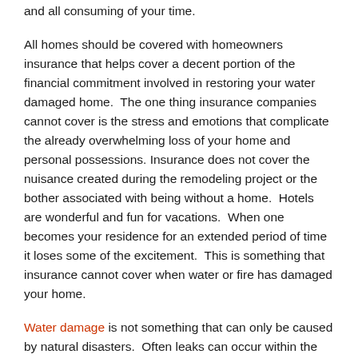and all consuming of your time.
All homes should be covered with homeowners insurance that helps cover a decent portion of the financial commitment involved in restoring your water damaged home.  The one thing insurance companies cannot cover is the stress and emotions that complicate the already overwhelming loss of your home and personal possessions. Insurance does not cover the nuisance created during the remodeling project or the bother associated with being without a home.  Hotels are wonderful and fun for vacations.  When one becomes your residence for an extended period of time it loses some of the excitement.  This is something that insurance cannot cover when water or fire has damaged your home.
Water damage is not something that can only be caused by natural disasters.  Often leaks can occur within the home and go completely unnoticed until the problem is much bigger than the homeowner can handle on their own.  Maybe a pipe breaks in the wall or a burst what which begins to seep. The